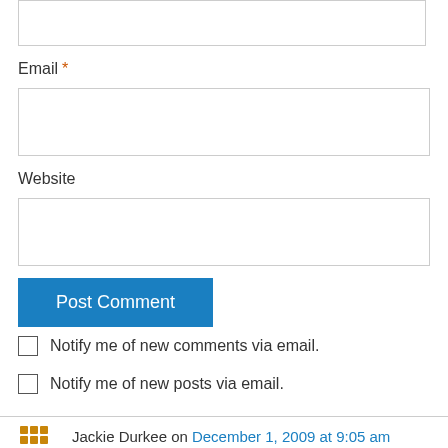[Figure (other): Empty text input box at top of page]
Email *
[Figure (other): Email text input box]
Website
[Figure (other): Website text input box]
Post Comment
Notify me of new comments via email.
Notify me of new posts via email.
Jackie Durkee on December 1, 2009 at 9:05 am